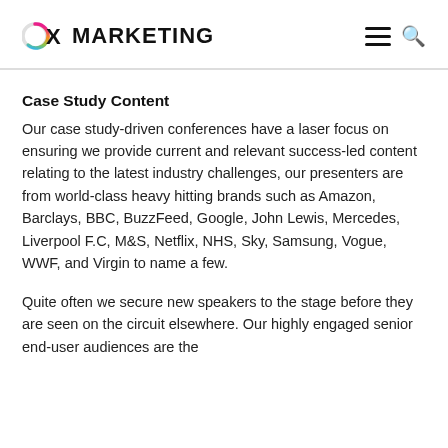CX MARKETING
Case Study Content
Our case study-driven conferences have a laser focus on ensuring we provide current and relevant success-led content relating to the latest industry challenges, our presenters are from world-class heavy hitting brands such as Amazon, Barclays, BBC, BuzzFeed, Google, John Lewis, Mercedes, Liverpool F.C, M&S, Netflix, NHS, Sky, Samsung, Vogue, WWF, and Virgin to name a few.
Quite often we secure new speakers to the stage before they are seen on the circuit elsewhere. Our highly engaged senior end-user audiences are the